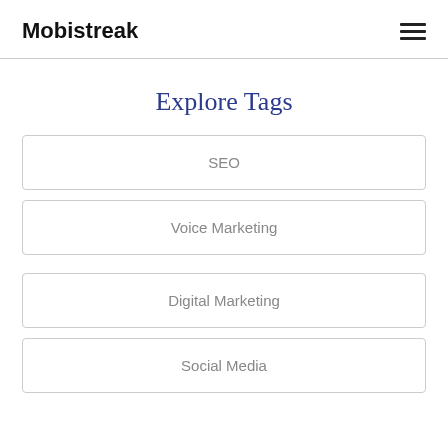Mobistreak
Explore Tags
SEO
Voice Marketing
Digital Marketing
Social Media